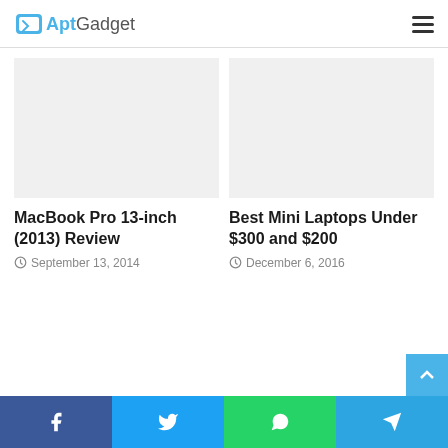AptGadget
MacBook Pro 13-inch (2013) Review
September 13, 2014
Best Mini Laptops Under $300 and $200
December 6, 2016
Facebook | Twitter | WhatsApp | Telegram